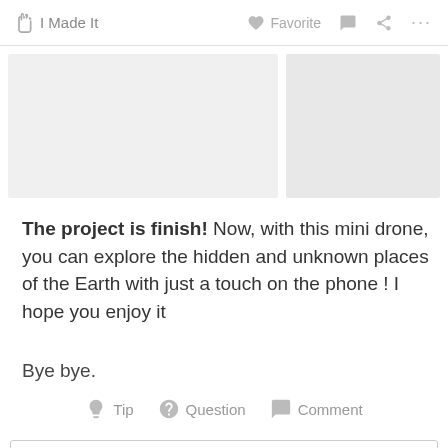I Made It  Favorite  Comment  Share  More
[Figure (photo): Two image placeholders side by side (gray rectangles)]
The project is finish! Now, with this mini drone, you can explore the hidden and unknown places of the Earth with just a touch on the phone ! I hope you enjoy it
Bye bye.
Tip  Question  Comment